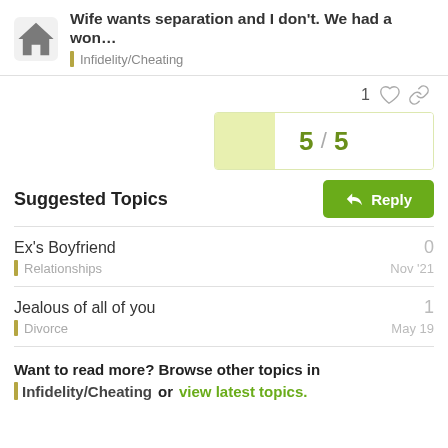Wife wants separation and I don't. We had a won... | Infidelity/Cheating
1
5 / 5
Suggested Topics
Reply
Ex's Boyfriend
Relationships
Nov '21
0
Jealous of all of you
Divorce
May 19
1
Want to read more? Browse other topics in Infidelity/Cheating or view latest topics.